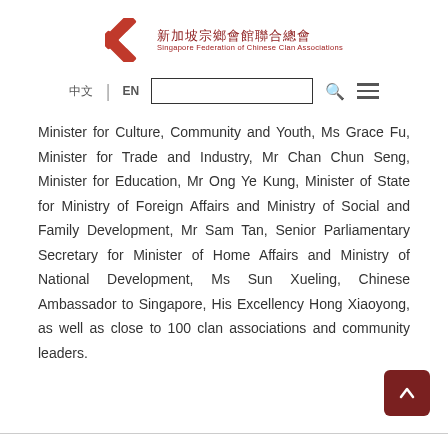[Figure (logo): Singapore Federation of Chinese Clan Associations logo with red X emblem and Chinese/English text]
[Figure (screenshot): Navigation bar with Chinese characters, EN language toggle, search box, search icon, and hamburger menu icon]
Minister for Culture, Community and Youth, Ms Grace Fu, Minister for Trade and Industry, Mr Chan Chun Seng, Minister for Education, Mr Ong Ye Kung, Minister of State for Ministry of Foreign Affairs and Ministry of Social and Family Development, Mr Sam Tan, Senior Parliamentary Secretary for Minister of Home Affairs and Ministry of National Development, Ms Sun Xueling, Chinese Ambassador to Singapore, His Excellency Hong Xiaoyong, as well as close to 100 clan associations and community leaders.